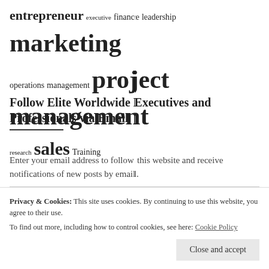[Figure (infographic): Tag cloud showing business/professional keywords at varying sizes: entrepreneur (medium), executive (small), finance (medium), leadership (medium), marketing (very large bold), operations (medium), management (medium), project management (very large bold), research (small), sales (large bold), Training (medium)]
Follow Elite Worldwide Executives and Professionals via Email
Enter your email address to follow this website and receive notifications of new posts by email.
Email Address
Privacy & Cookies: This site uses cookies. By continuing to use this website, you agree to their use.
To find out more, including how to control cookies, see here: Cookie Policy
Close and accept